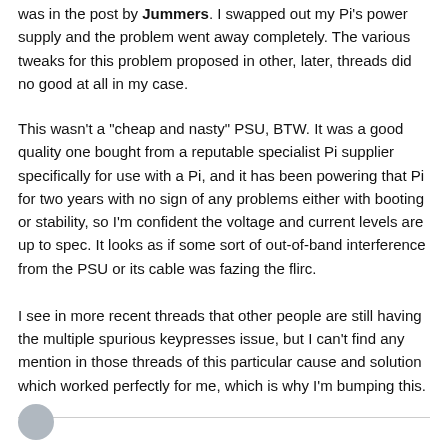was in the post by Jummers. I swapped out my Pi's power supply and the problem went away completely. The various tweaks for this problem proposed in other, later, threads did no good at all in my case.
This wasn't a "cheap and nasty" PSU, BTW. It was a good quality one bought from a reputable specialist Pi supplier specifically for use with a Pi, and it has been powering that Pi for two years with no sign of any problems either with booting or stability, so I'm confident the voltage and current levels are up to spec. It looks as if some sort of out-of-band interference from the PSU or its cable was fazing the flirc.
I see in more recent threads that other people are still having the multiple spurious keypresses issue, but I can't find any mention in those threads of this particular cause and solution which worked perfectly for me, which is why I'm bumping this.